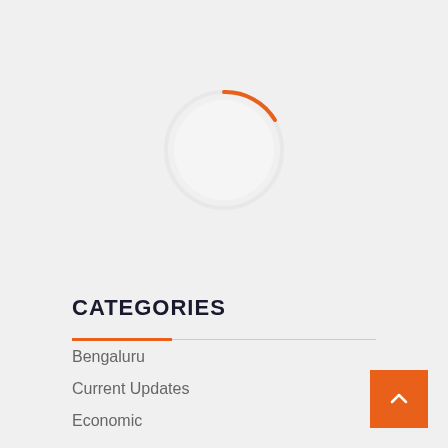[Figure (other): Loading spinner circle with orange arc on light gray background, partially visible at top-center of page]
CATEGORIES
Bengaluru
Current Updates
Economic